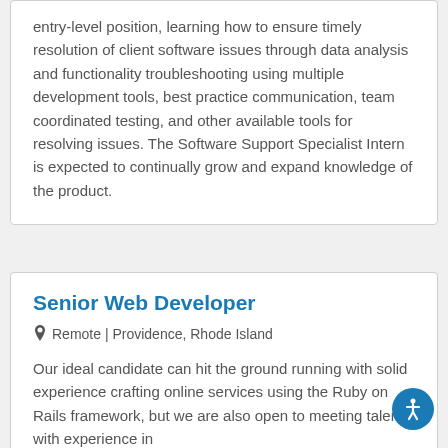entry-level position, learning how to ensure timely resolution of client software issues through data analysis and functionality troubleshooting using multiple development tools, best practice communication, team coordinated testing, and other available tools for resolving issues. The Software Support Specialist Intern is expected to continually grow and expand knowledge of the product.
Senior Web Developer
Remote | Providence, Rhode Island
Our ideal candidate can hit the ground running with solid experience crafting online services using the Ruby on Rails framework, but we are also open to meeting talent with experience in